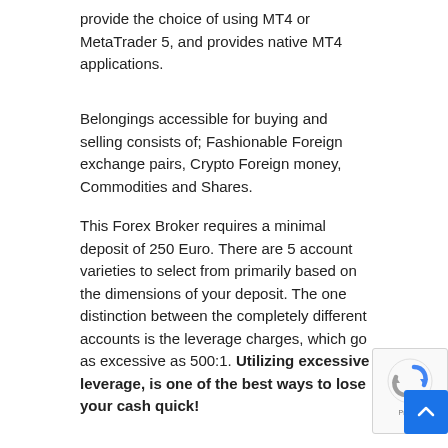provide the choice of using MT4 or MetaTrader 5, and provides native MT4 applications.
Belongings accessible for buying and selling consists of; Fashionable Foreign exchange pairs, Crypto Foreign money, Commodities and Shares.
This Forex Broker requires a minimal deposit of 250 Euro. There are 5 account varieties to select from primarily based on the dimensions of your deposit. The one distinction between the completely different accounts is the leverage charges, which go as excessive as 500:1. Utilizing excessive leverage, is one of the best ways to lose your cash quick!
[Figure (other): Google reCAPTCHA badge and scroll-to-top button in bottom right corner]